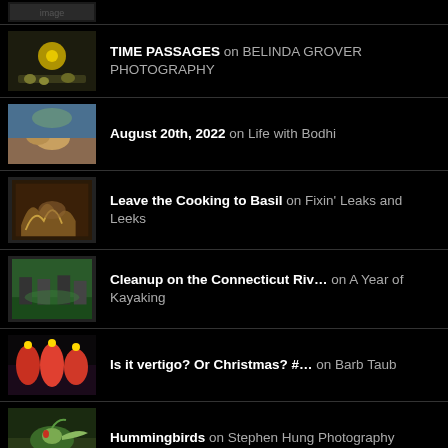(partial item at top, cropped)
TIME PASSAGES on BELINDA GROVER PHOTOGRAPHY
August 20th, 2022 on Life with Bodhi
Leave the Cooking to Basil on Fixin' Leaks and Leeks
Cleanup on the Connecticut Riv... on A Year of Kayaking
Is it vertigo? Or Christmas? #... on Barb Taub
Hummingbirds on Stephen Hung Photography
Bees on Vova Zinger's Photoblog
Jury Duty on rachelmankowitz